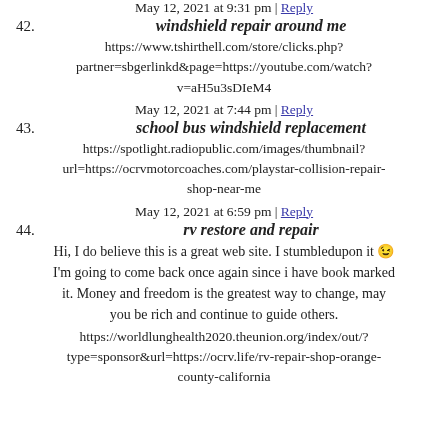42. May 12, 2021 at 9:31 pm | Reply
windshield repair around me
https://www.tshirthell.com/store/clicks.php?partner=sbgerlinkd&page=https://youtube.com/watch?v=aH5u3sDIeM4
43. May 12, 2021 at 7:44 pm | Reply
school bus windshield replacement
https://spotlight.radiopublic.com/images/thumbnail?url=https://ocrvmotorcoaches.com/playstar-collision-repair-shop-near-me
44. May 12, 2021 at 6:59 pm | Reply
rv restore and repair
Hi, I do believe this is a great web site. I stumbledupon it 😉 I'm going to come back once again since i have book marked it. Money and freedom is the greatest way to change, may you be rich and continue to guide others.
https://worldlunghealth2020.theunion.org/index/out/?type=sponsor&url=https://ocrv.life/rv-repair-shop-orange-county-california